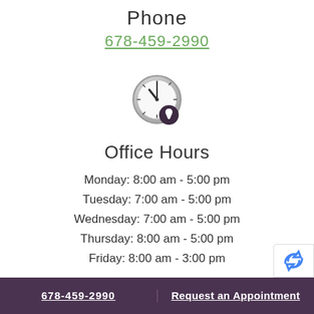Phone
678-459-2990
[Figure (illustration): Clock icon with a small tooth/dental icon badge at the bottom right]
Office Hours
Monday: 8:00 am - 5:00 pm
Tuesday: 7:00 am - 5:00 pm
Wednesday: 7:00 am - 5:00 pm
Thursday: 8:00 am - 5:00 pm
Friday: 8:00 am - 3:00 pm
678-459-2990 | Request an Appointment